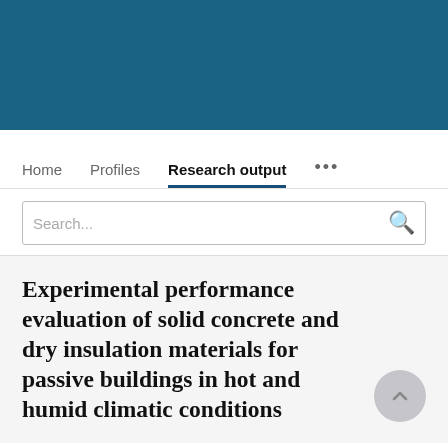[Figure (other): Dark teal/blue header banner at top of research portal webpage]
Home   Profiles   Research output   ...
Search...
Experimental performance evaluation of solid concrete and dry insulation materials for passive buildings in hot and humid climatic conditions